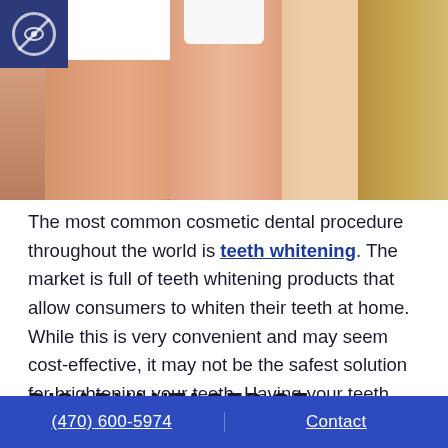[Figure (photo): Photo of two smiling people (man and woman) showing their teeth, cropped to show lower face and teeth area. A dark blue icon box with a crossed-out eye icon appears in the top-left corner overlay.]
The most common cosmetic dental procedure throughout the world is teeth whitening. The market is full of teeth whitening products that allow consumers to whiten their teeth at home. While this is very convenient and may seem cost-effective, it may not be the safest solution for brightening your teeth. Having your teeth whitened professionally ensures you get the maximum results with the safest products.
DISADVANTAGES OF
(470) 600-5974   Contact